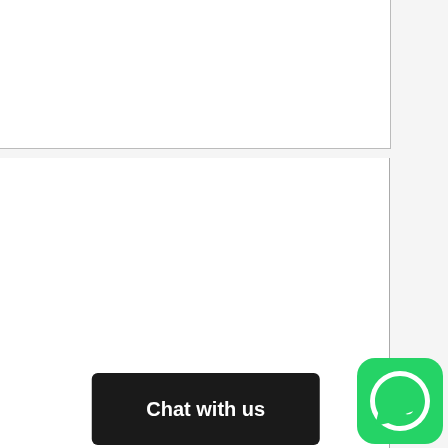Step III.
A Writer works on your paper and submits to editors upon completion.
[Figure (screenshot): Dark rounded button labeled 'Chat with us']
[Figure (logo): WhatsApp green circular icon with phone handset]